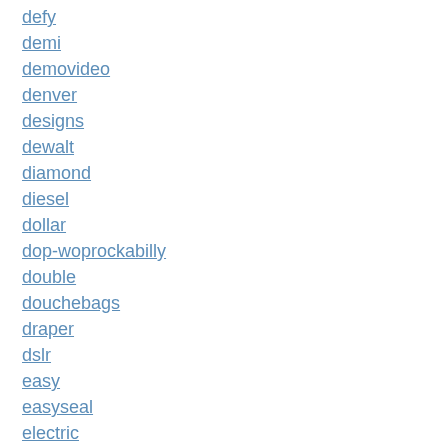defy
demi
demovideo
denver
designs
dewalt
diamond
diesel
dollar
dop-woprockabilly
double
douchebags
draper
dslr
easy
easyseal
electric